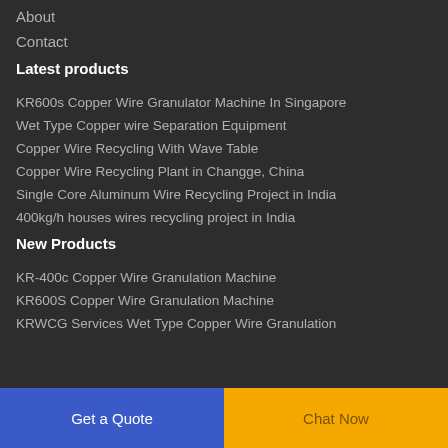About
Contact
Latest products
KR600s Copper Wire Granulator Machine In Singapore
Wet Type Copper wire Separation Equipment
Copper Wire Recycling With Wave Table
Copper Wire Recycling Plant in Changge, China
Single Core Aluminum Wire Recycling Project in India
400kg/h houses wires recycling project in India
New Products
KR-400c Copper Wire Granulation Machine
KR600S Copper Wire Granulation Machine
KRWCG Services Wet Type Copper Wire Granulation
Get a Quote | Chat Now